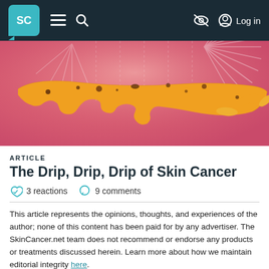SC | navigation menu | search | no-eye icon | Log in
[Figure (illustration): Illustration of a golden-yellow human arm with brown spots/moles against a pink-red background with white starburst rays]
ARTICLE
The Drip, Drip, Drip of Skin Cancer
3 reactions  9 comments
This article represents the opinions, thoughts, and experiences of the author; none of this content has been paid for by any advertiser. The SkinCancer.net team does not recommend or endorse any products or treatments discussed herein. Learn more about how we maintain editorial integrity here.